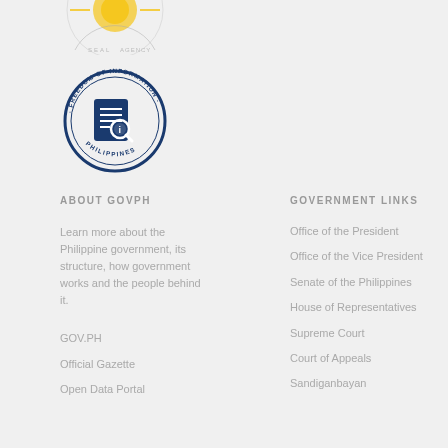[Figure (logo): Partial Philippine government agency seal at top (cropped)]
[Figure (logo): Freedom of Information Philippines circular seal with blue document and magnifying glass icon]
ABOUT GOVPH
GOVERNMENT LINKS
Learn more about the Philippine government, its structure, how government works and the people behind it.
GOV.PH
Official Gazette
Open Data Portal
Office of the President
Office of the Vice President
Senate of the Philippines
House of Representatives
Supreme Court
Court of Appeals
Sandiganbayan